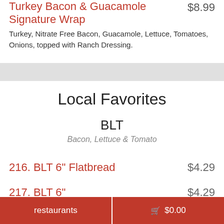Turkey Bacon & Guacamole Signature Wrap $8.99
Turkey, Nitrate Free Bacon, Guacamole, Lettuce, Tomatoes, Onions, topped with Ranch Dressing.
Local Favorites
BLT
Bacon, Lettuce & Tomato
216. BLT 6" Flatbread    $4.29
217. BLT 6"    $4.29